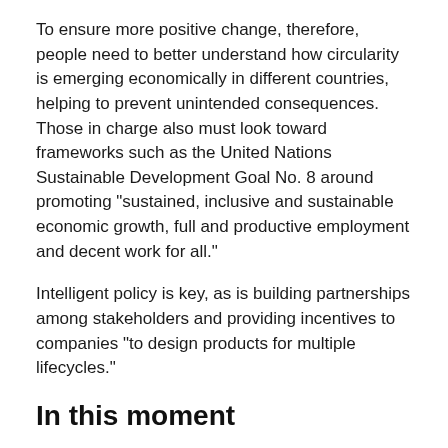To ensure more positive change, therefore, people need to better understand how circularity is emerging economically in different countries, helping to prevent unintended consequences. Those in charge also must look toward frameworks such as the United Nations Sustainable Development Goal No. 8 around promoting "sustained, inclusive and sustainable economic growth, full and productive employment and decent work for all."
Intelligent policy is key, as is building partnerships among stakeholders and providing incentives to companies "to design products for multiple lifecycles."
In this moment
In light of the COVID-19 pandemic, now would appear to be the time to build up an adaptable, safe and motivated circular workforce that operates within more resilient systems, including supply chains.